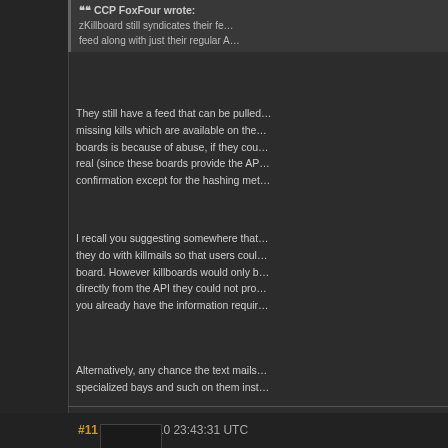CCP FoxFour wrote:
zKillboard still syndicates their feed along with just their regular A
They still have a feed that can be pulled missing kills which are available on the boards is because of abuse, if they cou real (since these boards provide the AP confirmation except for the hashing met
I recall you suggesting somewhere that they do with killmails so that users coul board. However killboards would only b directly from the API they could not pro you already have the information requir
Alternatively, any chance the text mails specialized bays and such on them inst
The Coreli Corporation is recruiting.
#11 - 2014-08-10 23:43:31 UTC